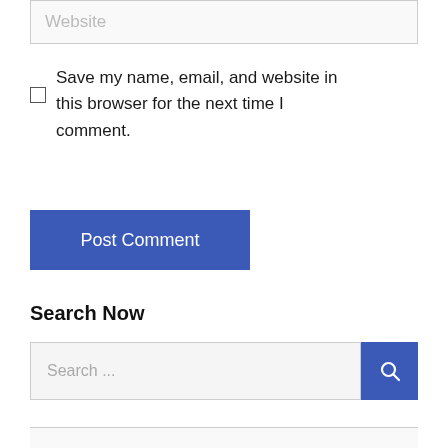[Figure (screenshot): Website input field with placeholder text 'Website' in a light gray input box]
Save my name, email, and website in this browser for the next time I comment.
[Figure (screenshot): Blue 'Post Comment' button]
Search Now
[Figure (screenshot): Search bar with placeholder text 'Search ...' and blue search button with magnifying glass icon]